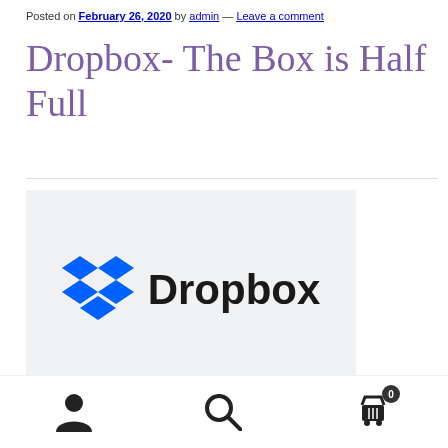Posted on February 26, 2020 by admin — Leave a comment
Dropbox- The Box is Half Full
[Figure (logo): Dropbox logo: blue diamond/chevron icon on left, bold black text 'Dropbox' on right, on a light grey background]
Dropbox Inc., DBX reported earnings on Friday, February 20.